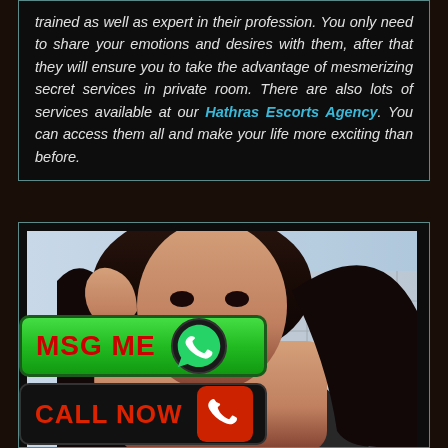trained as well as expert in their profession. You only need to share your emotions and desires with them, after that they will ensure you to take the advantage of mesmerizing secret services in private room. There are also lots of services available at our Hathras Escorts Agency. You can access them all and make your life more exciting than before.
[Figure (photo): Photo of a dark-haired woman with her hand near her head, with MSG ME and CALL NOW buttons overlaid at lower left]